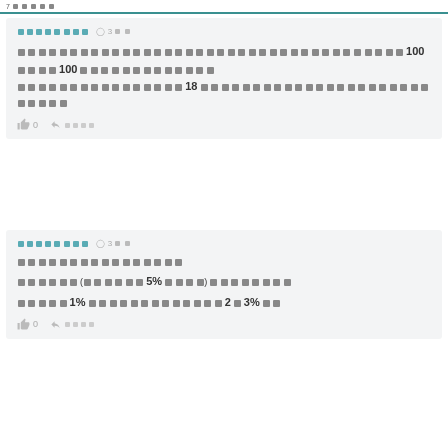7 □□□□
□□□□□□□□  ⏱ 3□□
□□□□□□□□□□□□□□□□□□□□□□□□□□□□□□□□□□□□□□□□□□□□100□□□□100□□□□□□□□□□□□□□□□□□□□□□□□□□□□□□□□□□18□□□□□□□□□□□□□□□□□□□□□□□□□□□□
👍 0  ➜ □□□□
□□□□□□□□  ⏱ 3□□
□□□□□□□□□□□□□□□□
□□□□□□(□□□□□□5%□□□□)□□□□□□□□□
□□□□□1%□□□□□□□□□□□□□□□□2□3%□□
👍 0  ➜ □□□□